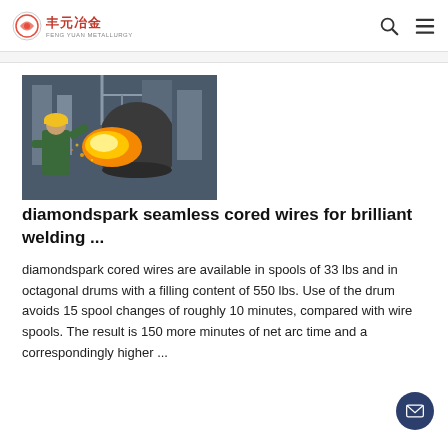丰元冶金
[Figure (photo): Industrial worker in yellow helmet and green protective gear operating molten metal pouring equipment at a steel foundry, with bright orange molten metal visible.]
diamondspark seamless cored wires for brilliant welding ...
diamondspark cored wires are available in spools of 33 lbs and in octagonal drums with a filling content of 550 lbs. Use of the drum avoids 15 spool changes of roughly 10 minutes, compared with wire spools. The result is 150 more minutes of net arc time and a correspondingly higher ...